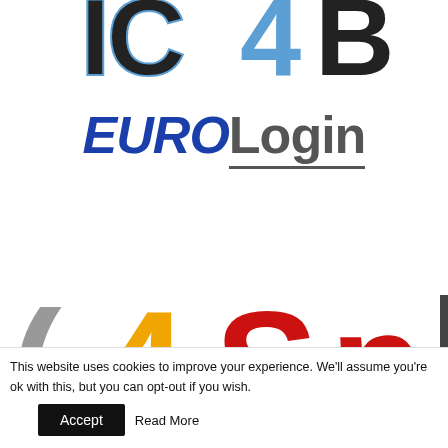[Figure (logo): Partially cropped logo letters in dark/blue colors at the top of the page, showing parts of letters resembling 'IC4B' or similar abbreviation]
[Figure (logo): EUROLogin logo: 'EURO' in bold italic dark blue, 'Login' in bold gray with underline]
[Figure (logo): Partially visible logo at bottom showing a gray parenthesis, yellow '4', red 'Sp' letters — partially cropped]
This website uses cookies to improve your experience. We'll assume you're ok with this, but you can opt-out if you wish.
Accept
Read More